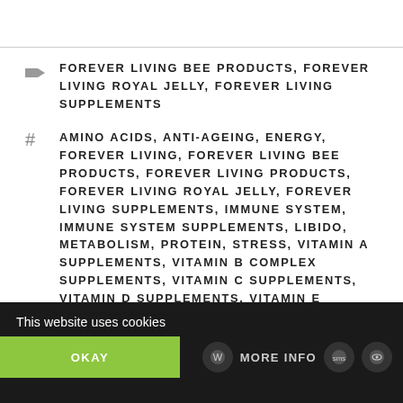FOREVER LIVING BEE PRODUCTS, FOREVER LIVING ROYAL JELLY, FOREVER LIVING SUPPLEMENTS
AMINO ACIDS, ANTI-AGEING, ENERGY, FOREVER LIVING, FOREVER LIVING BEE PRODUCTS, FOREVER LIVING PRODUCTS, FOREVER LIVING ROYAL JELLY, FOREVER LIVING SUPPLEMENTS, IMMUNE SYSTEM, IMMUNE SYSTEM SUPPLEMENTS, LIBIDO, METABOLISM, PROTEIN, STRESS, VITAMIN A SUPPLEMENTS, VITAMIN B COMPLEX SUPPLEMENTS, VITAMIN C SUPPLEMENTS, VITAMIN D SUPPLEMENTS, VITAMIN E SUPPLEMENTS, VITAMINS SUPPLEMENTS
This website uses cookies OKAY MORE INFO